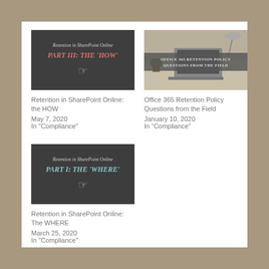[Figure (illustration): Dark chalkboard thumbnail image with cursive text: Retention in SharePoint Online PART III: THE HOW with a hand/cursor icon]
Retention in SharePoint Online: the HOW
May 7, 2020
In "Compliance"
[Figure (photo): Office desk with laptop, plant, and lamp; grey banner overlay with text: OFFICE 365 RETENTION POLICY QUESTIONS FROM THE FIELD]
Office 365 Retention Policy Questions from the Field
January 10, 2020
In “Compliance”
[Figure (illustration): Dark chalkboard thumbnail image with cursive text: Retention in SharePoint Online PART I: THE WHERE with a hand/cursor icon]
Retention in SharePoint Online: The WHERE
March 25, 2020
In "Compliance"